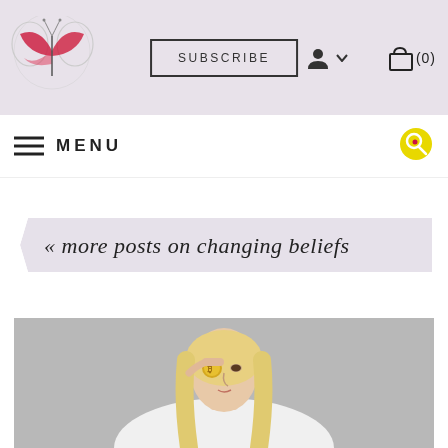Website header with logo, SUBSCRIBE button, user icon, and cart (0)
MENU
« more posts on changing beliefs
[Figure (photo): Blonde woman in white shirt holding a gold bitcoin coin up to her eye, studio photo on grey background]